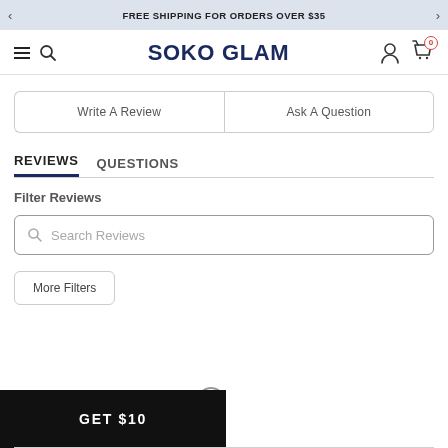FREE SHIPPING FOR ORDERS OVER $35
SOKO GLAM
Write A Review
Ask A Question
REVIEWS
QUESTIONS
Filter Reviews
Search Reviews
More Filters
GET $10